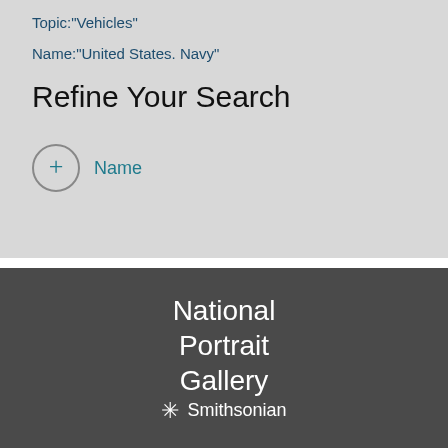Topic:"Vehicles"
Name:"United States. Navy"
Refine Your Search
+ Name
[Figure (logo): National Portrait Gallery Smithsonian logo on dark gray background]
National Portrait Gallery · Smithsonian